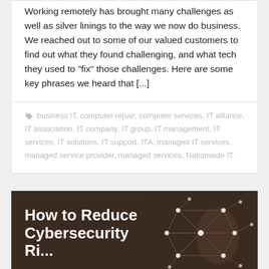Working remotely has brought many challenges as well as silver linings to the way we now do business. We reached out to some of our valued customers to find out what they found challenging, and what tech they used to "fix" those challenges. Here are some key phrases we heard that [...]
business IT, computer repair, computer services, IT alliance, IT association, IT company, IT group, IT management, IT services, IT solutions, IT support, ITA, managed IT services, managed service provider, managed services, Nationwide IT
[Figure (illustration): Dark brown/chocolate colored banner image with white bold text reading 'How to Reduce Cybersecurity Ri...' on the left side, and a network/globe illustration on the right side showing connected nodes and lines.]